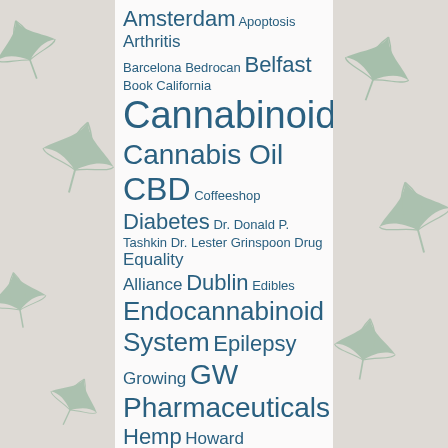[Figure (other): Word cloud on cannabis-related topics with cannabis leaf background pattern on left and right sides. Terms vary in size indicating frequency/importance. Larger terms include: Cannabinoids, Cannabis Oil, CBD, Endocannabinoid System, GW Pharmaceuticals, Medicinal, Sativex. Smaller terms include: Amsterdam, Apoptosis, Arthritis, Barcelona, Bedrocan, Belfast, Book, California, Coffeeshop, Diabetes, Dr. Donald P. Tashkin, Dr. Lester Grinspoon, Drug Equality Alliance, Dublin, Edibles, Epilepsy, Growing, Hemp, Howard Marks, Ireland, Israel, Jack Herer, Luke 'Ming' Flanagan, Marc Emery, Must-see documentaries, Nol van Schaik, Northern Ireland, Portugal, Review, Rick Simpson, Schizophrenia, Seeds, Social Club, Study.]